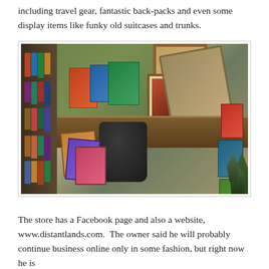including travel gear, fantastic back-packs and even some display items like funky old suitcases and trunks.
[Figure (photo): Interior of a travel bookstore/shop showing bookshelves on the left stacked with books, a display counter with travel books, a framed picture, a large vintage suitcase/trunk in the upper right, a black backpack in the center-bottom, and various travel-related items and books on display. Green wall visible in background.]
The store has a Facebook page and also a website, www.distantlands.com.  The owner said he will probably continue business online only in some fashion, but right now he is